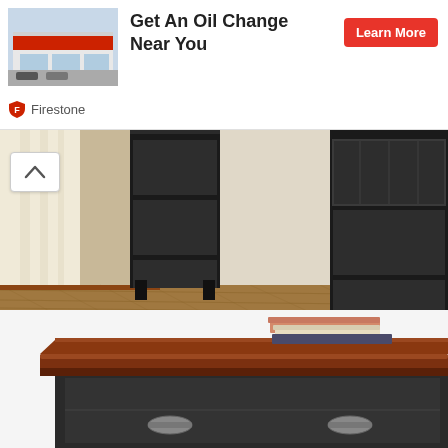[Figure (screenshot): Ad banner for Firestone oil change service showing store front image, bold headline 'Get An Oil Change Near You', red Learn More button, and Firestone shield logo]
[Figure (photo): Close-up of a black bookshelf or cabinet with a tan/brown textured rug on the floor and hardwood flooring visible]
Source: www.cymax.com
3.9 out of 5 stars 46. 4.1 out of 5 stars 127.
[Figure (photo): Black dresser or cabinet with a cherry wood top surface, stacked books on top, and a drawer with a silver half-moon pull handle]